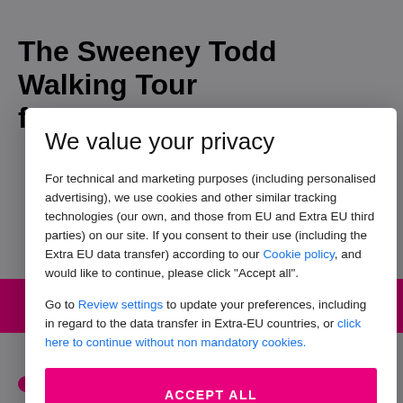The Sweeney Todd Walking Tour for Two
CODE: PLPWS2   12 MONTH VALIDITY
LONDON - TEMPLE STATION   2 PEOPLE
We value your privacy
For technical and marketing purposes (including personalised advertising), we use cookies and other similar tracking technologies (our own, and those from EU and Extra EU third parties) on our site. If you consent to their use (including the Extra EU data transfer) according to our Cookie policy, and would like to continue, please click "Accept all".
Go to Review settings to update your preferences, including in regard to the data transfer in Extra-EU countries, or click here to continue without non mandatory cookies.
ACCEPT ALL